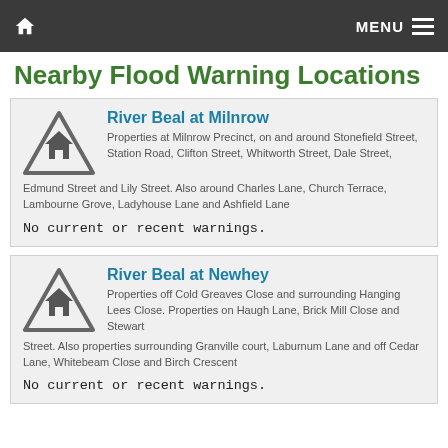MENU
Nearby Flood Warning Locations
River Beal at Milnrow
Properties at Milnrow Precinct, on and around Stonefield Street, Station Road, Clifton Street, Whitworth Street, Dale Street, Edmund Street and Lily Street. Also around Charles Lane, Church Terrace, Lambourne Grove, Ladyhouse Lane and Ashfield Lane
No current or recent warnings.
River Beal at Newhey
Properties off Cold Greaves Close and surrounding Hanging Lees Close. Properties on Haugh Lane, Brick Mill Close and Stewart Street. Also properties surrounding Granville court, Laburnum Lane and off Cedar Lane, Whitebeam Close and Birch Crescent
No current or recent warnings.